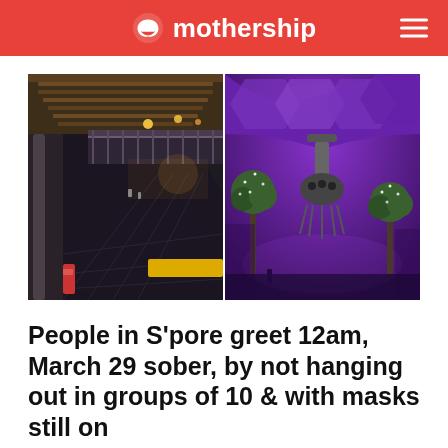mothership
[Figure (photo): Two side-by-side photos of Singapore public spaces at night: left shows an empty covered walkway/shopping area with warm lighting; right shows an open plaza with purple lighting and decorative tree sculptures.]
People in S'pore greet 12am, March 29 sober, by not hanging out in groups of 10 & with masks still on
No countdowns, no mass gatherings on the streets.